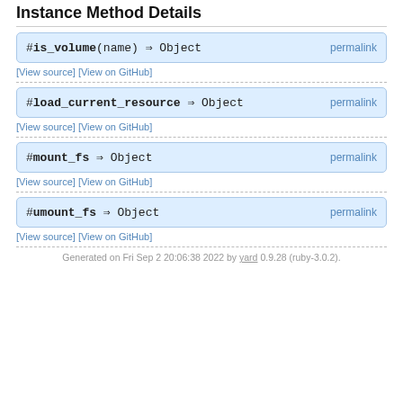Instance Method Details
#is_volume(name) ⇒ Object  permalink
[View source] [View on GitHub]
#load_current_resource ⇒ Object  permalink
[View source] [View on GitHub]
#mount_fs ⇒ Object  permalink
[View source] [View on GitHub]
#umount_fs ⇒ Object  permalink
[View source] [View on GitHub]
Generated on Fri Sep 2 20:06:38 2022 by yard 0.9.28 (ruby-3.0.2).